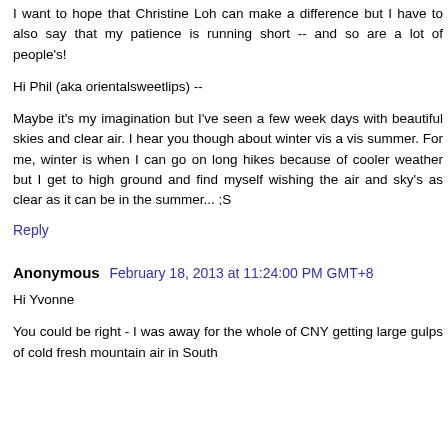I want to hope that Christine Loh can make a difference but I have to also say that my patience is running short -- and so are a lot of people's!
Hi Phil (aka orientalsweetlips) --
Maybe it's my imagination but I've seen a few week days with beautiful skies and clear air. I hear you though about winter vis a vis summer. For me, winter is when I can go on long hikes because of cooler weather but I get to high ground and find myself wishing the air and sky's as clear as it can be in the summer... ;S
Reply
Anonymous February 18, 2013 at 11:24:00 PM GMT+8
Hi Yvonne
You could be right - I was away for the whole of CNY getting large gulps of cold fresh mountain air in South